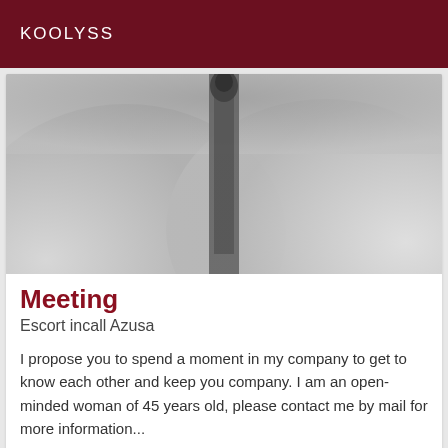KOOLYSS
[Figure (photo): Black and white close-up abstract photo showing rounded forms with a vertical dark element in the center]
Meeting
Escort incall Azusa
I propose you to spend a moment in my company to get to know each other and keep you company. I am an open-minded woman of 45 years old, please contact me by mail for more information...
Verified